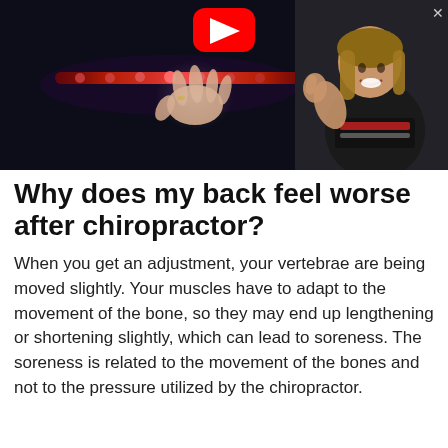[Figure (screenshot): YouTube video thumbnail showing a chiropractor's hands near a person's back with a glowing spine visualization, and a woman in a black shirt giving a thumbs up on the right side. A red YouTube play button is visible at the top center.]
Why does my back feel worse after chiropractor?
When you get an adjustment, your vertebrae are being moved slightly. Your muscles have to adapt to the movement of the bone, so they may end up lengthening or shortening slightly, which can lead to soreness. The soreness is related to the movement of the bones and not to the pressure utilized by the chiropractor.